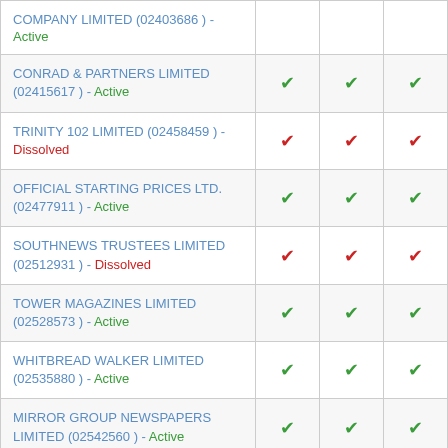| Company | Col1 | Col2 | Col3 |
| --- | --- | --- | --- |
| COMPANY LIMITED (02403686) - Active | ✓ | ✓ | ✓ |
| CONRAD & PARTNERS LIMITED (02415617) - Active | ✓ | ✓ | ✓ |
| TRINITY 102 LIMITED (02458459) - Dissolved | ✓ | ✓ | ✓ |
| OFFICIAL STARTING PRICES LTD. (02477911) - Active | ✓ | ✓ | ✓ |
| SOUTHNEWS TRUSTEES LIMITED (02512931) - Dissolved | ✓ | ✓ | ✓ |
| TOWER MAGAZINES LIMITED (02528573) - Active | ✓ | ✓ | ✓ |
| WHITBREAD WALKER LIMITED (02535880) - Active | ✓ | ✓ | ✓ |
| MIRROR GROUP NEWSPAPERS LIMITED (02542560) - Active | ✓ | ✓ | ✓ |
| MIDLAND WEEKLY NEWSPAPERS ... | ✓ | ✓ | ✓ |